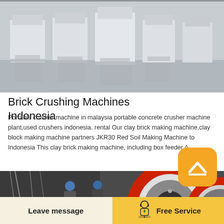[Figure (photo): Industrial crushing machines in a factory setting, white/grey industrial equipment in a row on a reflective floor]
Brick Crushing Machines Indonesia
Portable crusher machine in malaysia portable concrete crusher machine plant,used crushers indonesia. rental Our clay brick making machine,clay block making machine partners JKR30 Red Soil Making Machine to Indonesia This clay brick making machine, including box feeder,A
READ MORE
[Figure (photo): Workers in blue hard hats working with large industrial machinery with red and grey components]
Leave message
Free Service